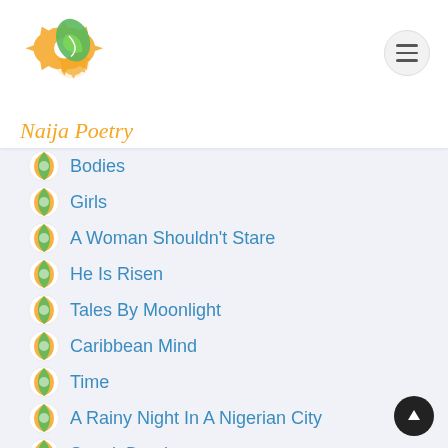Naija Poetry
Bodies
Girls
A Woman Shouldn't Stare
He Is Risen
Tales By Moonlight
Caribbean Mind
Time
A Rainy Night In A Nigerian City
Struck Dumb
BEYOUTIFUL
Who Is Who Africa?
My Love
Throwback Thursday
DARKNESS
Bring Back Our Girls
PATHS
A Sick Egret
I'm All Yours